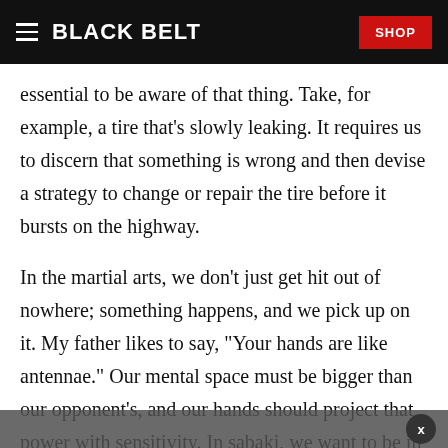BLACK BELT | SHOP
essential to be aware of that thing. Take, for example, a tire that's slowly leaking. It requires us to discern that something is wrong and then devise a strategy to change or repair the tire before it bursts on the highway.
In the martial arts, we don't just get hit out of nowhere; something happens, and we pick up on it. My father likes to say, "Your hands are like antennae." Our mental space must be bigger than our opponent's, and our hands should project that power with sensitivity. In sabaki, we want to be in